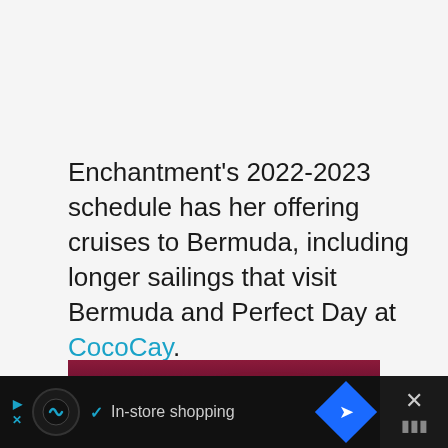Enchantment's 2022-2023 schedule has her offering cruises to Bermuda, including longer sailings that visit Bermuda and Perfect Day at CocoCay.
[Figure (photo): Night photo of an amusement park or cruise terminal with a ferris wheel on the left and illuminated architectural structures with light streaks on the right, against a dramatic reddish-purple sky.]
In-store shopping